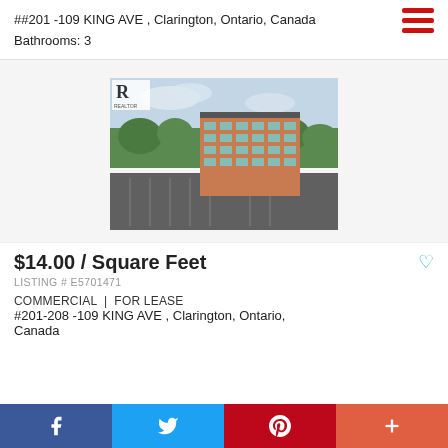##201 -109 KING AVE , Clarington, Ontario, Canada
Bathrooms: 3
[Figure (photo): Aerial drone photo of a multi-storey brick commercial office building at 109 King Ave, Clarington, Ontario, surrounded by parking lots and green trees, with cloudy sky.]
$14.00 / Square Feet
LISTING # E5701471
COMMERCIAL | FOR LEASE
#201-208 -109 KING AVE , Clarington, Ontario, Canada
Facebook | Twitter | Pinterest | +